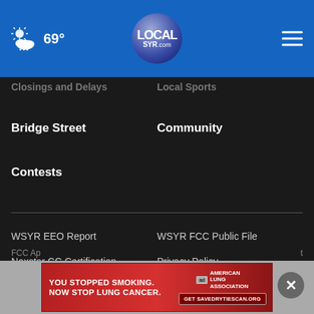69° LOCALsyr.com
Closings and Delays
Local Sports
Bridge Street
Community
Contests
WSYR EEO Report
WSYR FCC Public File
Nexstar CC Certification
Privacy Policy
Terms Of Use
Do Not Sell My Personal Information
FCC Ap
[Figure (screenshot): Advertisement banner: YOU STOPPED SMOKING. NOW STOP LUNG CANCER. American Lung Association ad with GetSAVEDRYTIESCAN.org CTA button]